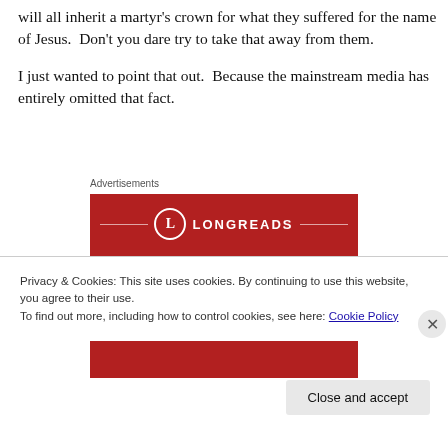will all inherit a martyr's crown for what they suffered for the name of Jesus.  Don't you dare try to take that away from them.
I just wanted to point that out.  Because the mainstream media has entirely omitted that fact.
Advertisements
[Figure (illustration): Longreads advertisement banner with red background, logo circle with 'L', brand name LONGREADS, and tagline 'The best stories on the web – ours, and']
Privacy & Cookies: This site uses cookies. By continuing to use this website, you agree to their use.
To find out more, including how to control cookies, see here: Cookie Policy
Close and accept